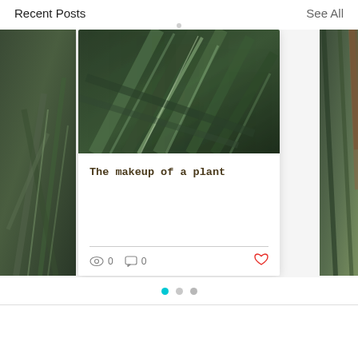Recent Posts
See All
[Figure (photo): Partial left card showing dark green plant foliage photo, cropped on left edge]
[Figure (photo): Center blog post card with dark green grass/plant close-up photo at top, titled 'The makeup of a plant', showing 0 views, 0 comments, and a heart/like icon]
[Figure (photo): Partial right card showing blurred green and brown plant stems, cropped on right edge]
The makeup of a plant